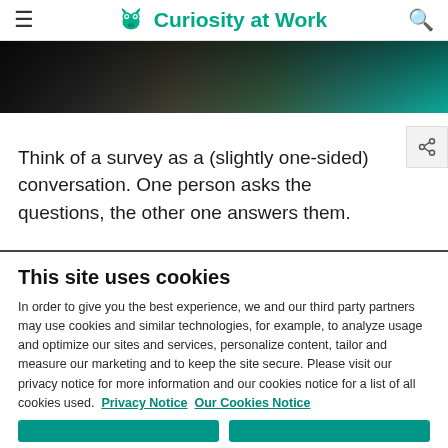Curiosity at Work
[Figure (photo): Partial view of people at a table with papers, a glass, and a teal/blue folder, dark background]
Think of a survey as a (slightly one-sided) conversation. One person asks the questions, the other one answers them.
This site uses cookies
In order to give you the best experience, we and our third party partners may use cookies and similar technologies, for example, to analyze usage and optimize our sites and services, personalize content, tailor and measure our marketing and to keep the site secure. Please visit our privacy notice for more information and our cookies notice for a list of all cookies used.  Privacy Notice  Our Cookies Notice